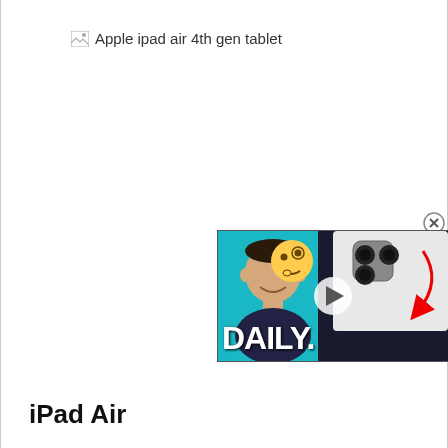[Figure (screenshot): Broken image placeholder with alt text 'Apple ipad air 4th gen tablet']
[Figure (screenshot): Video thumbnail overlay showing a man with thinking face emoji, text 'DAILY.' and a phone camera close-up with red arrow, with a play button and close (X) button]
iPad Air